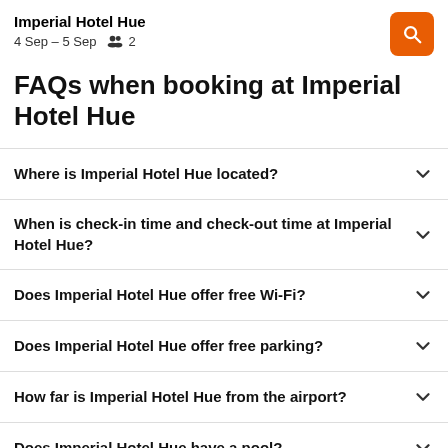Imperial Hotel Hue
4 Sep – 5 Sep  👥 2
FAQs when booking at Imperial Hotel Hue
Where is Imperial Hotel Hue located?
When is check-in time and check-out time at Imperial Hotel Hue?
Does Imperial Hotel Hue offer free Wi-Fi?
Does Imperial Hotel Hue offer free parking?
How far is Imperial Hotel Hue from the airport?
Does Imperial Hotel Hue have a pool?